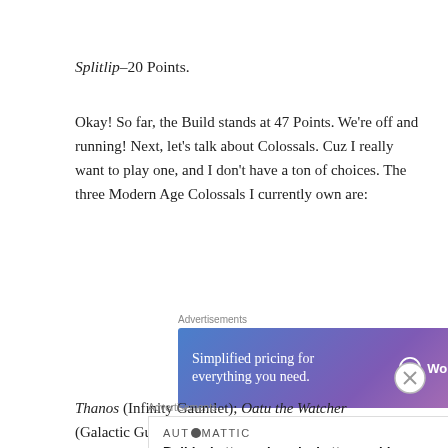Splitlip–20 Points.
Okay! So far, the Build stands at 47 Points. We're off and running! Next, let's talk about Colossals. Cuz I really want to play one, and I don't have a ton of choices. The three Modern Age Colossals I currently own are:
[Figure (other): WordPress.com advertisement banner: 'Simplified pricing for everything you need.' with WordPress.com logo on blue-to-purple gradient background.]
Thanos (Infinity Gauntlet); Oatu the Watcher (Galactic Guardians); Master Mold (Galactic Guardians)
[Figure (other): Automattic advertisement: 'Build a better web and a better world.']